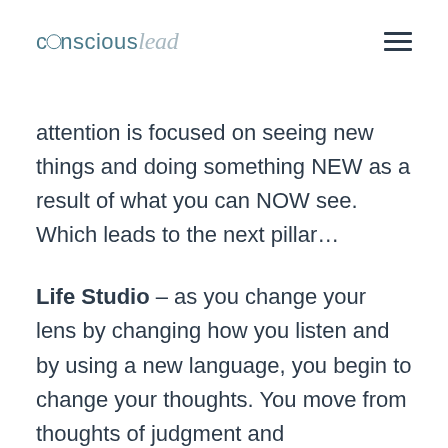consciouslead [hamburger menu]
attention is focused on seeing new things and doing something NEW as a result of what you can NOW see. Which leads to the next pillar…
Life Studio – as you change your lens by changing how you listen and by using a new language, you begin to change your thoughts. You move from thoughts of judgment and disconnection to observations that connect